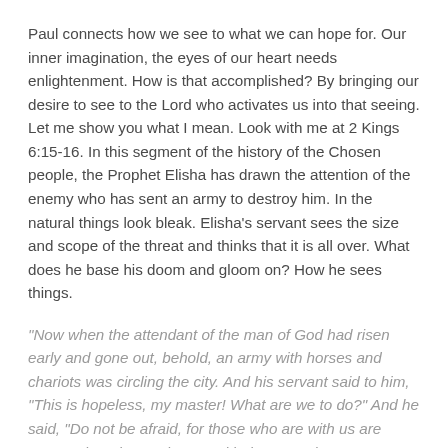Paul connects how we see to what we can hope for. Our inner imagination, the eyes of our heart needs enlightenment. How is that accomplished? By bringing our desire to see to the Lord who activates us into that seeing. Let me show you what I mean. Look with me at 2 Kings 6:15-16. In this segment of the history of the Chosen people, the Prophet Elisha has drawn the attention of the enemy who has sent an army to destroy him. In the natural things look bleak. Elisha's servant sees the size and scope of the threat and thinks that it is all over. What does he base his doom and gloom on? How he sees things.
“Now when the attendant of the man of God had risen early and gone out, behold, an army with horses and chariots was circling the city. And his servant said to him, “This is hopeless, my master! What are we to do?” And he said, “Do not be afraid, for those who are with us are greater than those who are with them.”’ 2Ki 6:15-16